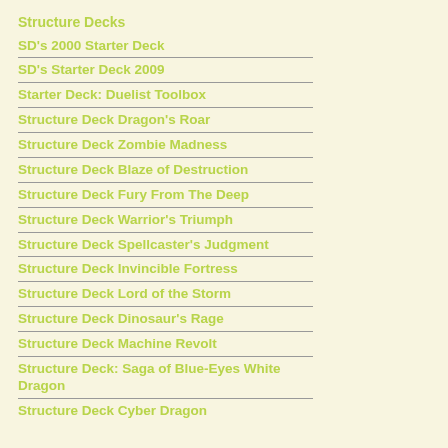Structure Decks
SD's 2000 Starter Deck
SD's Starter Deck 2009
Starter Deck: Duelist Toolbox
Structure Deck Dragon's Roar
Structure Deck Zombie Madness
Structure Deck Blaze of Destruction
Structure Deck Fury From The Deep
Structure Deck Warrior's Triumph
Structure Deck Spellcaster's Judgment
Structure Deck Invincible Fortress
Structure Deck Lord of the Storm
Structure Deck Dinosaur's Rage
Structure Deck Machine Revolt
Structure Deck: Saga of Blue-Eyes White Dragon
Structure Deck: Cyber Dragon